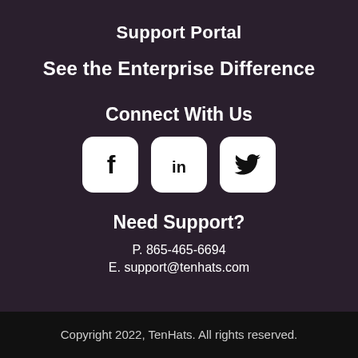Support Portal
See the Enterprise Difference
Connect With Us
[Figure (infographic): Three social media icons in rounded square boxes: Facebook (f), LinkedIn (in), Twitter (bird)]
Need Support?
P. 865-465-6694
E. support@tenhats.com
Copyright 2022, TenHats. All rights reserved.